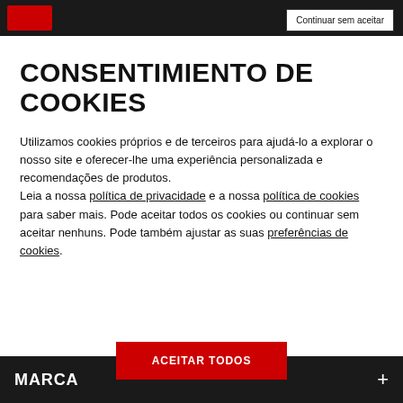Continuar sem aceitar
CONSENTIMIENTO DE COOKIES
Utilizamos cookies próprios e de terceiros para ajudá-lo a explorar o nosso site e oferecer-lhe uma experiência personalizada e recomendações de produtos. Leia a nossa política de privacidade e a nossa política de cookies para saber mais. Pode aceitar todos os cookies ou continuar sem aceitar nenhuns. Pode também ajustar as suas preferências de cookies.
MARCA  +  ACEITAR TODOS